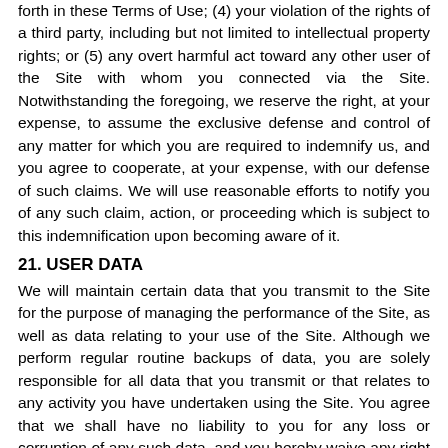forth in these Terms of Use; (4) your violation of the rights of a third party, including but not limited to intellectual property rights; or (5) any overt harmful act toward any other user of the Site with whom you connected via the Site. Notwithstanding the foregoing, we reserve the right, at your expense, to assume the exclusive defense and control of any matter for which you are required to indemnify us, and you agree to cooperate, at your expense, with our defense of such claims. We will use reasonable efforts to notify you of any such claim, action, or proceeding which is subject to this indemnification upon becoming aware of it.
21. USER DATA
We will maintain certain data that you transmit to the Site for the purpose of managing the performance of the Site, as well as data relating to your use of the Site. Although we perform regular routine backups of data, you are solely responsible for all data that you transmit or that relates to any activity you have undertaken using the Site. You agree that we shall have no liability to you for any loss or corruption of any such data, and you hereby waive any right of action against us arising from any such